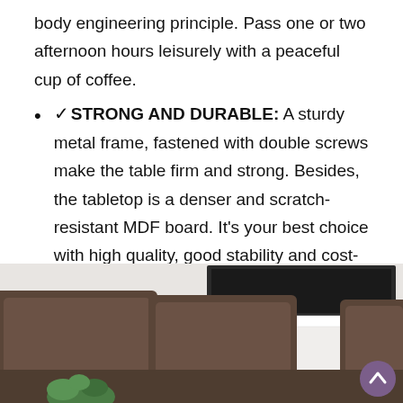body engineering principle. Pass one or two afternoon hours leisurely with a peaceful cup of coffee.
✓STRONG AND DURABLE: A sturdy metal frame, fastened with double screws make the table firm and strong. Besides, the tabletop is a denser and scratch-resistant MDF board. It's your best choice with high quality, good stability and cost-effective.
[Figure (photo): Photo of a brown sofa with cushions in a living room setting with a TV visible in the background]